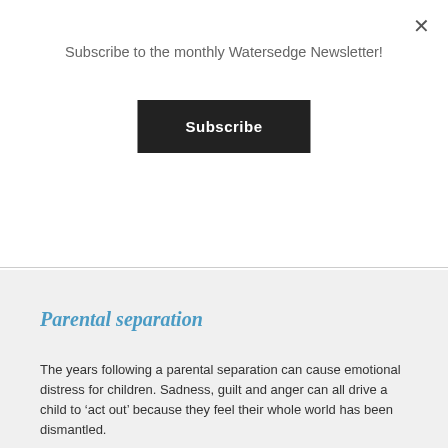Subscribe to the monthly Watersedge Newsletter!
Subscribe
Parental separation
The years following a parental separation can cause emotional distress for children. Sadness, guilt and anger can all drive a child to ‘act out’ because they feel their whole world has been dismantled.
Grief
A child’s grief is as keen as your own and has